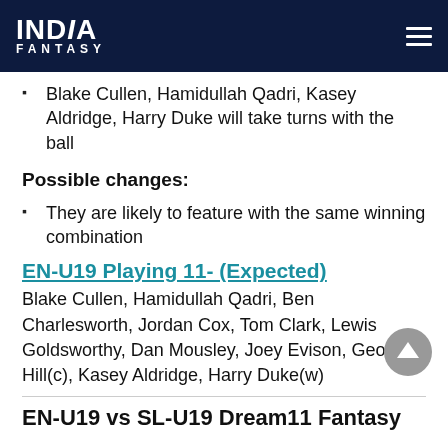INDIA FANTASY
Blake Cullen, Hamidullah Qadri, Kasey Aldridge, Harry Duke will take turns with the ball
Possible changes:
They are likely to feature with the same winning combination
EN-U19 Playing 11- (Expected)
Blake Cullen, Hamidullah Qadri, Ben Charlesworth, Jordan Cox, Tom Clark, Lewis Goldsworthy, Dan Mousley, Joey Evison, George Hill(c), Kasey Aldridge, Harry Duke(w)
EN-U19 vs SL-U19 Dream11 Fantasy